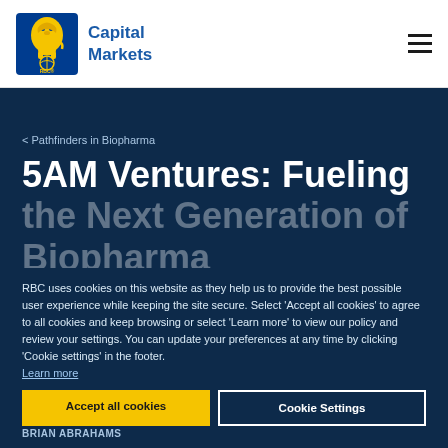[Figure (logo): RBC Capital Markets logo with lion emblem and 'Capital Markets' text in blue]
< Pathfinders in Biopharma
5AM Ventures: Fueling the Next Generation of Biopharma
RBC uses cookies on this website as they help us to provide the best possible user experience while keeping the site secure. Select 'Accept all cookies' to agree to all cookies and keep browsing or select 'Learn more' to view our policy and review your settings. You can update your preferences at any time by clicking 'Cookie settings' in the footer.
Learn more
Accept all cookies
Cookie Settings
BRIAN ABRAHAMS
Hi. Welcome to another edition of Pathfinders from RBC Capital Markets, where we like...